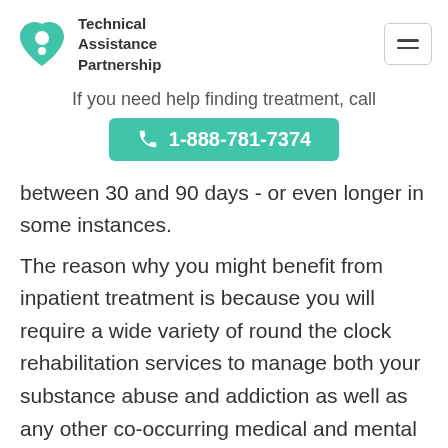Technical Assistance Partnership
If you need help finding treatment, call
1-888-781-7374
between 30 and 90 days - or even longer in some instances.
The reason why you might benefit from inpatient treatment is because you will require a wide variety of round the clock rehabilitation services to manage both your substance abuse and addiction as well as any other co-occurring medical and mental health disorders that you